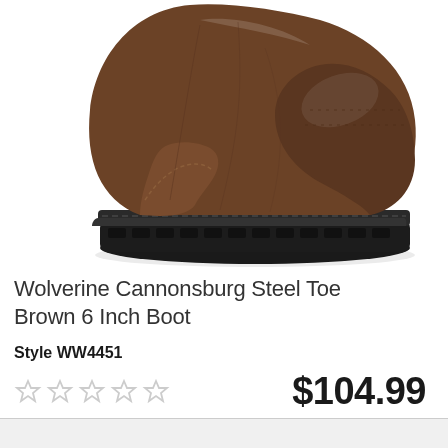[Figure (photo): Close-up photo of a brown leather Wolverine Cannonsburg Steel Toe 6 Inch Boot with black rubber lug sole, shown from the front-top angle against a white background.]
Wolverine Cannonsburg Steel Toe Brown 6 Inch Boot
Style WW4451
★★★★★ $104.99